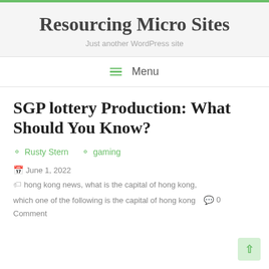Resourcing Micro Sites
Just another WordPress site
Menu
SGP lottery Production: What Should You Know?
Rusty Stern   gaming
June 1, 2022   hong kong news, what is the capital of hong kong, which one of the following is the capital of hong kong   0 Comment